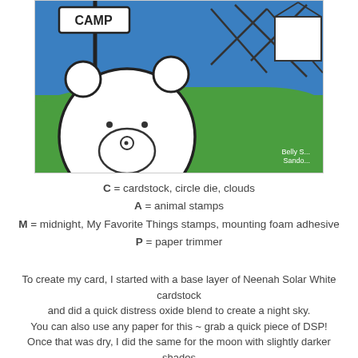[Figure (photo): Close-up photo of a craft card featuring a cartoon bear face on a camping scene with blue sky, green ground, a 'CAMP' sign post, and tent shapes in the upper right. White watermark text reads 'Belly S... Sando...']
C = cardstock, circle die, clouds
A = animal stamps
M = midnight, My Favorite Things stamps, mounting foam adhesive
P = paper trimmer
To create my card, I started with a base layer of Neenah Solar White cardstock and did a quick distress oxide blend to create a night sky. You can also use any paper for this ~ grab a quick piece of DSP! Once that was dry, I did the same for the moon with slightly darker shades